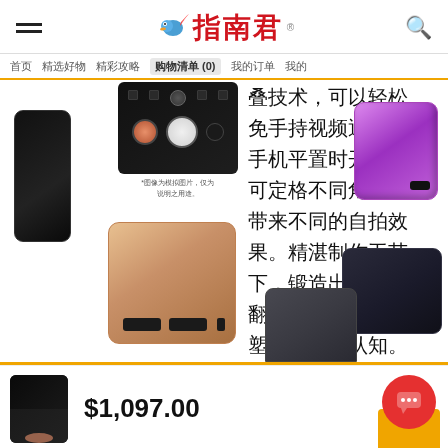指南君
首页  精选好物  精彩攻略  购物清单(0)  我的订单  我的
[Figure (photo): Samsung Galaxy Z Flip folding phone product images showing multiple color variants: black camera module detail, closed black phone, purple closed phone, rose gold phone, dark charcoal phone, and graphite phone. Text caption reads: *图像为模拟图片，仅为说明之用途。]
叠技术，可以轻松免手持视频通话，手机平置时开合间可定格不同角度，带来不同的自拍效果。精湛制作工艺下，锻造出新鲜的翻折拍摄体验，重塑手机拍照认知。
$1,097.00